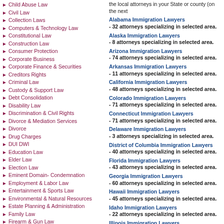Child Abuse Law
Civil Law
Collection Laws
Computers & Technology Law
Constitutional Law
Construction Law
Consumer Protection
Corporate Business
Corporate Finance & Securities
Creditors Rights
Criminal Law
Custody & Support Law
Debt Consolidation
Disability Law
Discrimination & Civil Rights
Divorce & Mediation Services
Divorce
Drug Charges
DUI DWI
Education Law
Elder Law
Election Law
Eminent Domain- Condemnation
Employment & Labor Law
Entertainment & Sports Law
Environmental & Natural Resources
Estate Planning & Administration
Family Law
Firearm & Gun Law
the local attorneys in your State or county (on the next
Alabama Immigration Lawyers - 32 attorneys specializing in selected area.
Alaska Immigration Lawyers - 8 attorneys specializing in selected area.
Arizona Immigration Lawyers - 74 attorneys specializing in selected area.
Arkansas Immigration Lawyers - 11 attorneys specializing in selected area.
California Immigration Lawyers - 48 attorneys specializing in selected area.
Colorado Immigration Lawyers - 71 attorneys specializing in selected area.
Connecticut Immigration Lawyers - 71 attorneys specializing in selected area.
Delaware Immigration Lawyers - 3 attorneys specializing in selected area.
District of Columbia Immigration Lawyers - 40 attorneys specializing in selected area.
Florida Immigration Lawyers - 43 attorneys specializing in selected area.
Georgia Immigration Lawyers - 60 attorneys specializing in selected area.
Hawaii Immigration Lawyers - 45 attorneys specializing in selected area.
Idaho Immigration Lawyers - 22 attorneys specializing in selected area.
Illinois Immigration Lawyers - 75 attorneys specializing in selected area.
Indiana Immigration Lawyers - 45 attorneys specializing in selected area.